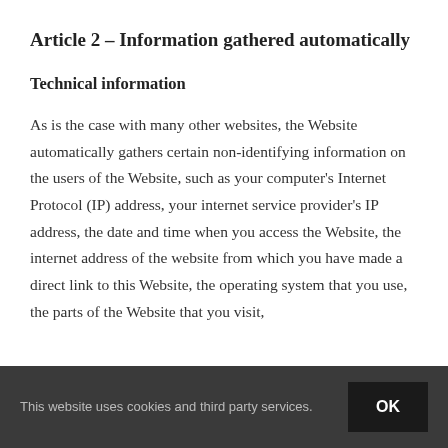Article 2 – Information gathered automatically
Technical information
As is the case with many other websites, the Website automatically gathers certain non-identifying information on the users of the Website, such as your computer's Internet Protocol (IP) address, your internet service provider's IP address, the date and time when you access the Website, the internet address of the website from which you have made a direct link to this Website, the operating system that you use, the parts of the Website that you visit,
This website uses cookies and third party services.
OK